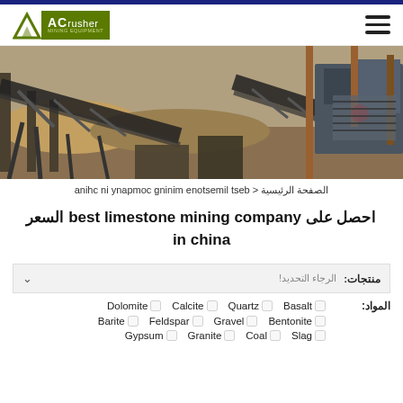[Figure (logo): ACrusher Mining Equipment logo with green background and triangle]
[Figure (photo): Industrial mining/crushing equipment facility with conveyor belts and machinery]
الصفحة الرئيسية < best limestone mining company in china
احصل على best limestone mining company السعر in china
منتجات: الرجاء التحديد!
المواد: Dolomite □ Calcite □ Quartz □ Basalt □
Barite □ Feldspar □ Gravel □ Bentonite □
Gypsum □ Granite □ Coal □ Slag □